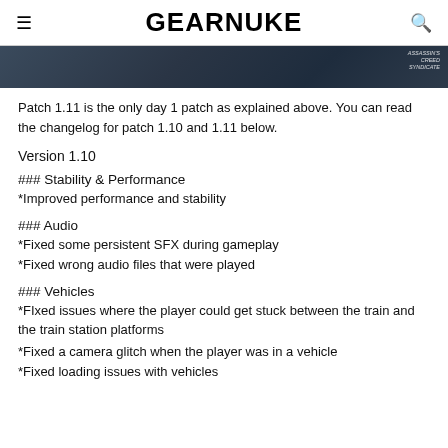GEARNUKE
[Figure (photo): Partial hero image showing a dark scene from Assassin's Creed Syndicate with watermark text visible in top-right corner]
Patch 1.11 is the only day 1 patch as explained above. You can read the changelog for patch 1.10 and 1.11 below.
Version 1.10
### Stability & Performance
*Improved performance and stability
### Audio
*Fixed some persistent SFX during gameplay
*Fixed wrong audio files that were played
### Vehicles
*FIxed issues where the player could get stuck between the train and the train station platforms
*Fixed a camera glitch when the player was in a vehicle
*Fixed loading issues with vehicles